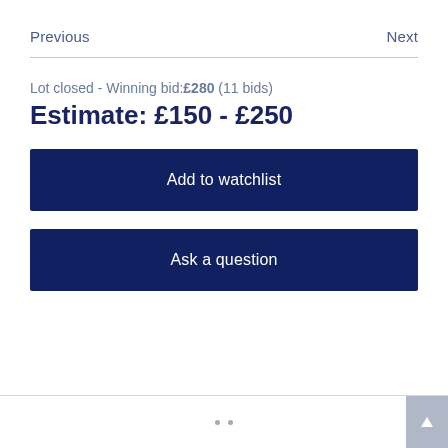Previous    Next
Lot closed - Winning bid:£280 (11 bids)
Estimate: £150 - £250
Add to watchlist
Ask a question
. .